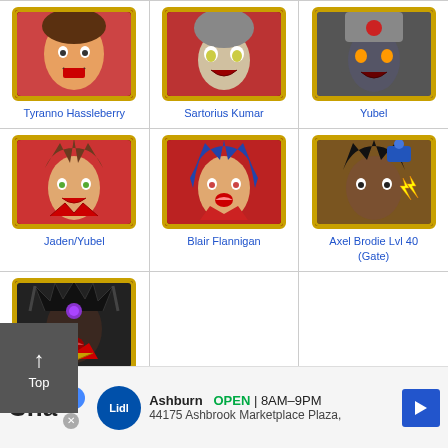[Figure (illustration): Tyranno Hassleberry anime character portrait]
Tyranno Hassleberry
[Figure (illustration): Sartorius Kumar anime character portrait]
Sartorius Kumar
[Figure (illustration): Yubel anime character portrait]
Yubel
[Figure (illustration): Jaden/Yubel anime character portrait]
Jaden/Yubel
[Figure (illustration): Blair Flannigan anime character portrait]
Blair Flannigan
[Figure (illustration): Axel Brodie Lvl 40 (Gate) anime character portrait]
Axel Brodie Lvl 40
(Gate)
[Figure (illustration): Supreme King Jaden Lvl 40 (Gate) anime character portrait]
Supreme King Jaden
Lvl 40 (Gate)
Cha... Ashburn OPEN 8AM-9PM 44175 Ashbrook Marketplace Plaza,